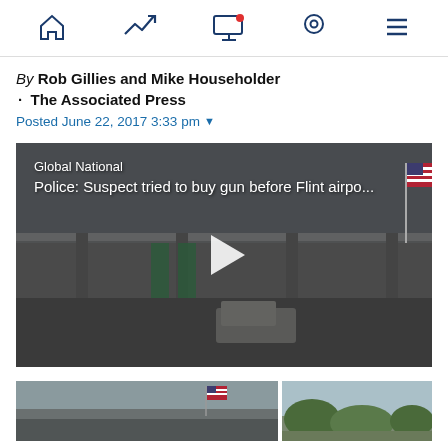Navigation bar with home, trending, notifications, location, and menu icons
By Rob Gillies and Mike Householder
•  The Associated Press
Posted June 22, 2017 3:33 pm
[Figure (screenshot): Video player with dark background showing airport exterior with American flag. Overlay text reads: 'Global National / Police: Suspect tried to buy gun before Flint airpo...' with a play button in the center.]
[Figure (photo): Two partially visible photos at the bottom of the page showing outdoor scenes, one with an American flag.]